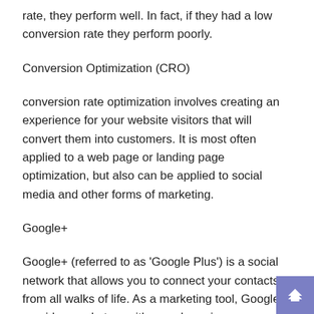rate, they perform well. In fact, if they had a low conversion rate they perform poorly.
Conversion Optimization (CRO)
conversion rate optimization involves creating an experience for your website visitors that will convert them into customers. It is most often applied to a web page or landing page optimization, but also can be applied to social media and other forms of marketing.
Google+
Google+ (referred to as 'Google Plus') is a social network that allows you to connect your contacts, from all walks of life. As a marketing tool, Google+ provides marketers with search engine optimization